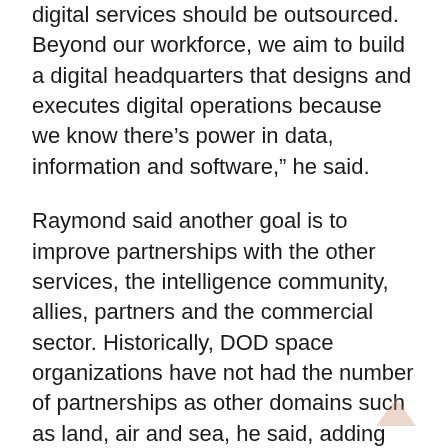digital services should be outsourced. Beyond our workforce, we aim to build a digital headquarters that designs and executes digital operations because we know there's power in data, information and software," he said.
Raymond said another goal is to improve partnerships with the other services, the intelligence community, allies, partners and the commercial sector. Historically, DOD space organizations have not had the number of partnerships as other domains such as land, air and sea, he said, adding "This has to change."
He added, "This is an exciting and critical period for our country in space. As a spacefaring nation, we are strongest when the domain is secure and stable, accessible to enterprising Americans for scientific and economic reasons."